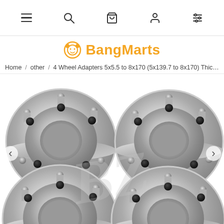Navigation bar with menu, search, cart, account, and filter icons
BangMarts
Home / other / 4 Wheel Adapters 5x5.5 to 8x170 (5x139.7 to 8x170) Thickne:
[Figure (photo): Four silver aluminum wheel spacer adapters (5x5.5 to 8x170) arranged in a 2x2 grid view on white background with BZ watermark]